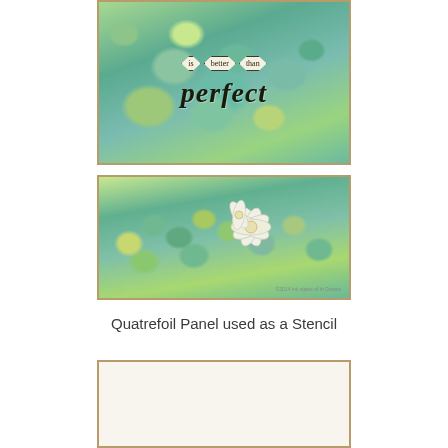[Figure (illustration): Mixed media artwork with teal, green and yellow background with quatrefoil stencil shapes and text reading 'is better than perfect']
[Figure (illustration): Long horizontal strip of mixed media artwork with organic bubble-like green and teal shapes with white flowers in the center-right area]
Quatrefoil Panel used as a Stencil
[Figure (illustration): Close-up of a quatrefoil panel stencil showing repeating geometric quatrefoil shapes in a grid pattern on a cream background with brown/tan borders]